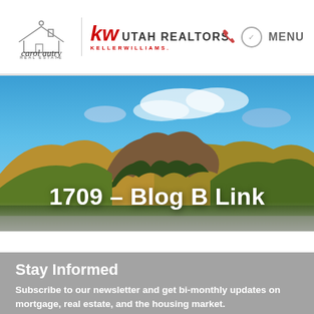carol autry REAL ESTATE | KW UTAH REALTORS KELLERWILLIAMS | MENU
[Figure (photo): Scenic landscape photo of rolling green and golden hills with forests and rocky peaks under a blue sky with white clouds, Utah mountains.]
1709 – Blog B Link
Stay Informed
Subscribe to our newsletter and get bi-monthly updates on mortgage, real estate, and the housing market.